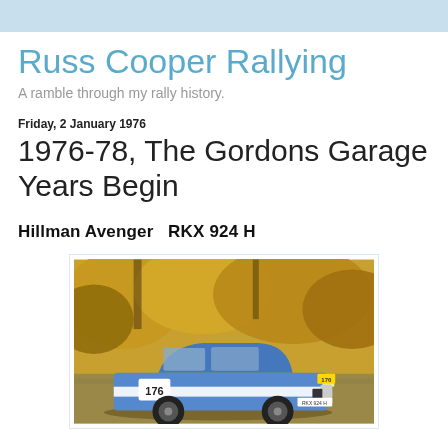Russ Cooper Rallying
A ramble through my rally history.
Friday, 2 January 1976
1976-78, The Gordons Garage Years Begin
Hillman Avenger   RKX 924 H
[Figure (photo): A blue and white rally car (Hillman Avenger, registration RKX 924 H, number 176) driving on a dirt/gravel road with autumn foliage in the background.]